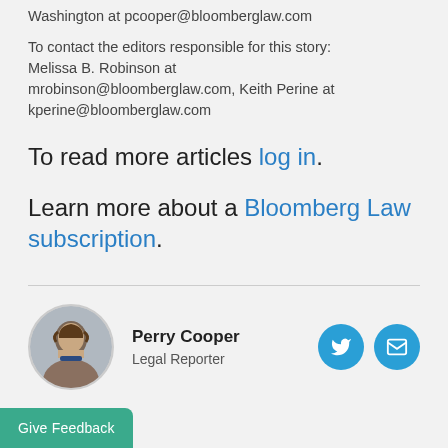Washington at pcooper@bloomberglaw.com
To contact the editors responsible for this story: Melissa B. Robinson at mrobinson@bloomberglaw.com, Keith Perine at kperine@bloomberglaw.com
To read more articles log in.
Learn more about a Bloomberg Law subscription.
Perry Cooper
Legal Reporter
Give Feedback